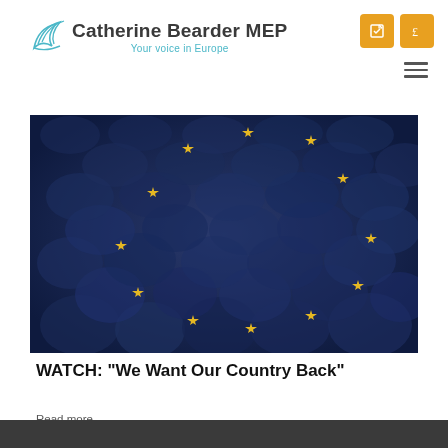Catherine Bearder MEP — Your voice in Europe
[Figure (photo): Crowd of people overlaid with EU flag stars in blue and gold tones]
WATCH: "We Want Our Country Back"
Read more